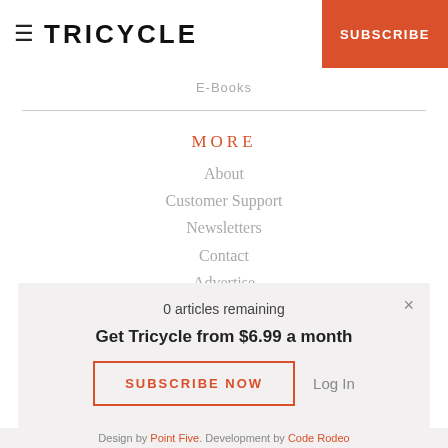TRICYCLE | SUBSCRIBE
E-Books
MORE
About
Customer Support
Newsletters
Contact
Advertise
Careers
Terms of Service
Privacy Policy
0 articles remaining
Get Tricycle from $6.99 a month
SUBSCRIBE NOW
Log In
Design by Point Five. Development by Code Rodeo